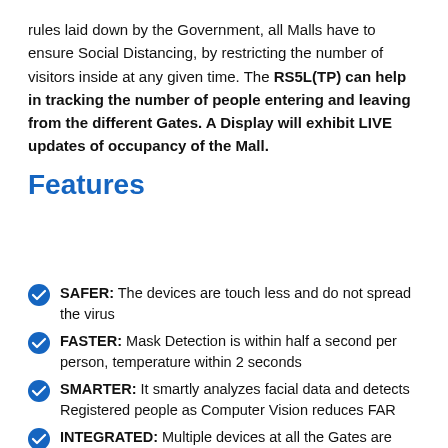rules laid down by the Government, all Malls have to ensure Social Distancing, by restricting the number of visitors inside at any given time. The RS5L(TP) can help in tracking the number of people entering and leaving from the different Gates. A Display will exhibit LIVE updates of occupancy of the Mall.
Features
SAFER: The devices are touch less and do not spread the virus
FASTER: Mask Detection is within half a second per person, temperature within 2 seconds
SMARTER: It smartly analyzes facial data and detects Registered people as Computer Vision reduces FAR
INTEGRATED: Multiple devices at all the Gates are integrated centrally to a Cloud Application
HIGH ACCURACY OF TEMPERATURE SCAN: RSHRIS Face